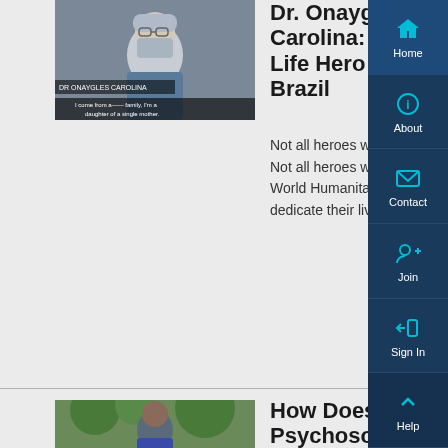[Figure (photo): Video thumbnail showing a healthcare worker wearing a mask and surgical cap in a medical setting, with subtitle text overlay]
Dr. Onaygles Carolina: Real Life Hero from Brazil
Not all heroes wear capes. Not all heroes fight dragons. Not all heroes will have their names on the news. On World Humanitarian Day we honor real-life heroes who dedicate their lives to helping others.
[Figure (photo): Thumbnail of a woman outdoors with green foliage in background]
How Does Psychosocial